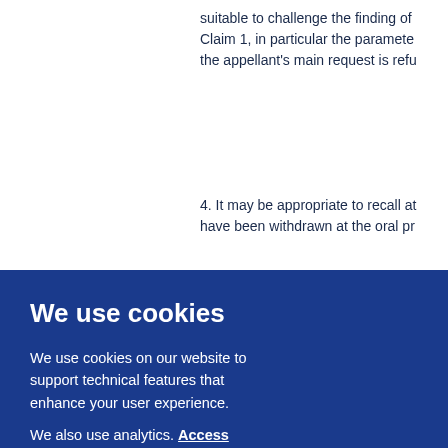suitable to challenge the finding of Claim 1, in particular the parameter the appellant's main request is refu
4. It may be appropriate to recall at have been withdrawn at the oral pr
5. Sixth auxiliary request
5.1 The sixth auxiliary request cons above
We use cookies
We use cookies on our website to support technical features that enhance your user experience.
We also use analytics. Access full information on cookies that we use and how to manage them
OK
d of a acrylic
of a cteriz